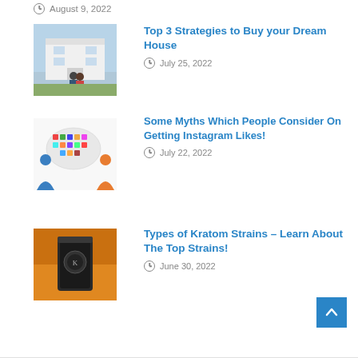August 9, 2022
[Figure (photo): Couple looking at a modern house from behind]
Top 3 Strategies to Buy your Dream House
July 25, 2022
[Figure (illustration): Colorful speech bubble with social media icons and two human silhouettes]
Some Myths Which People Consider On Getting Instagram Likes!
July 22, 2022
[Figure (photo): Kratom product bag on orange background]
Types of Kratom Strains – Learn About The Top Strains!
June 30, 2022